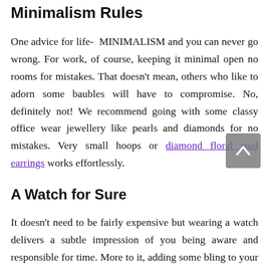Minimalism Rules
One advice for life- MINIMALISM and you can never go wrong. For work, of course, keeping it minimal open no rooms for mistakes. That doesn't mean, others who like to adorn some baubles will have to compromise. No, definitely not! We recommend going with some classy office wear jewellery like pearls and diamonds for no mistakes. Very small hoops or diamond floral stud earrings works effortlessly.
A Watch for Sure
It doesn't need to be fairly expensive but wearing a watch delivers a subtle impression of you being aware and responsible for time. More to it, adding some bling to your wrist is no bad (make sure you are not donning a heavy chunky bracelet along).
Cl...